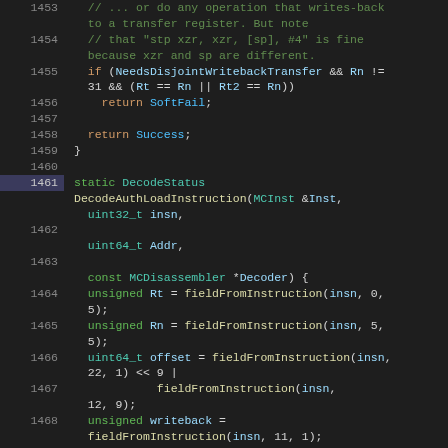Source code listing lines 1453-1475, C++ disassembler code for AArch64 instruction decoding